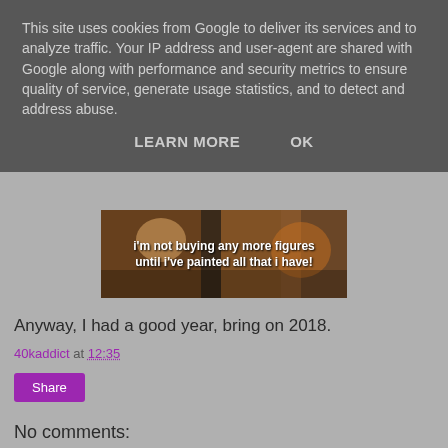This site uses cookies from Google to deliver its services and to analyze traffic. Your IP address and user-agent are shared with Google along with performance and security metrics to ensure quality of service, generate usage statistics, and to detect and address abuse.
LEARN MORE    OK
[Figure (illustration): Banner image with text overlay: "i'm not buying any more figures until i've painted all that i have!"]
Anyway, I had a good year, bring on 2018.
40kaddict at 12:35
Share
No comments:
Post a Comment